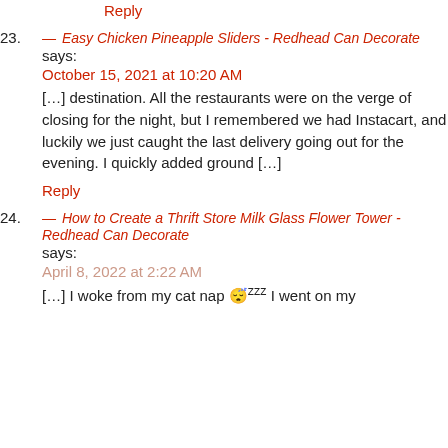Reply
23. — Easy Chicken Pineapple Sliders - Redhead Can Decorate says:
October 15, 2021 at 10:20 AM
[…] destination. All the restaurants were on the verge of closing for the night, but I remembered we had Instacart, and luckily we just caught the last delivery going out for the evening. I quickly added ground […]
Reply
24. — How to Create a Thrift Store Milk Glass Flower Tower - Redhead Can Decorate says:
April 8, 2022 at 2:22 AM
[…] I woke from my cat nap 😴 I went on my